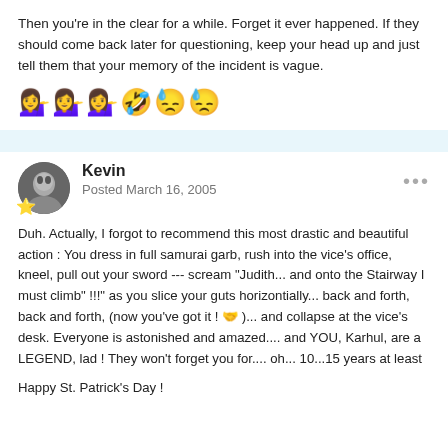Then you're in the clear for a while. Forget it ever happened. If they should come back later for questioning, keep your head up and just tell them that your memory of the incident is vague.
[Figure (illustration): Six emoji faces in a row: three dark-skinned smiley faces with sunglasses, one laughing/clown face, and two expressionless/exhausted faces]
Kevin
Posted March 16, 2005
Duh. Actually, I forgot to recommend this most drastic and beautiful action : You dress in full samurai garb, rush into the vice's office, kneel, pull out your sword --- scream "Judith... and onto the Stairway I must climb" !!!" as you slice your guts horizontially... back and forth, back and forth, (now you've got it ! 🤙 )... and collapse at the vice's desk. Everyone is astonished and amazed.... and YOU, Karhul, are a LEGEND, lad ! They won't forget you for.... oh... 10...15 years at least

Happy St. Patrick's Day !